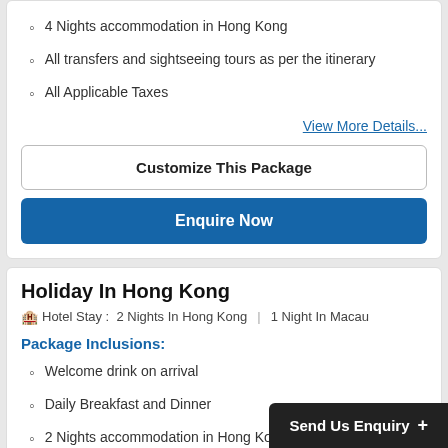4 Nights accommodation in Hong Kong
All transfers and sightseeing tours as per the itinerary
All Applicable Taxes
View More Details...
Customize This Package
Enquire Now
Holiday In Hong Kong
Hotel Stay : 2 Nights In Hong Kong | 1 Night In Macau
Package Inclusions:
Welcome drink on arrival
Daily Breakfast and Dinner
2 Nights accommodation in Hong Kong
1 Night accommodation in Macau
All transfers and sightseeing tours as per the itinerary
Send Us Enquiry +